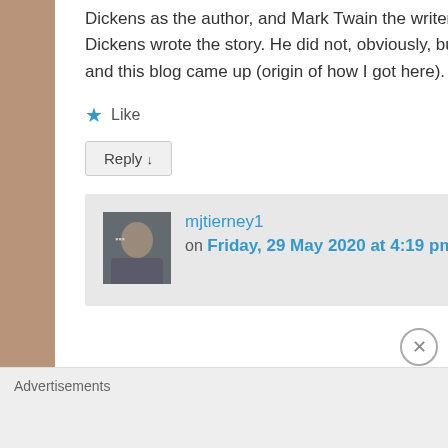Dickens as the author, and Mark Twain the writer of the preface… I googled it, and google books says Dickens wrote the story. He did not, obviously, but several sources list this. So I googled Twain Dickens, and this blog came up (origin of how I got here). Can anyone explain the author confusion?
★ Like
Reply ↓
mjtierney1 on Friday, 29 May 2020 at 4:19 pm said:
Advertisements